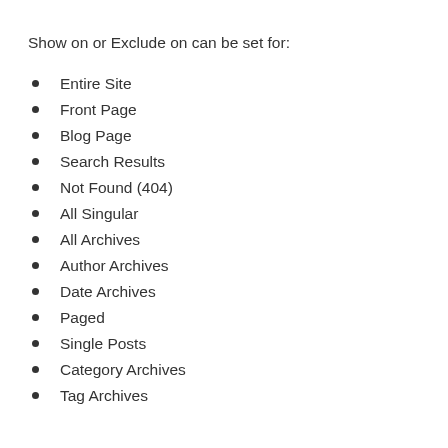Show on or Exclude on can be set for:
Entire Site
Front Page
Blog Page
Search Results
Not Found (404)
All Singular
All Archives
Author Archives
Date Archives
Paged
Single Posts
Category Archives
Tag Archives